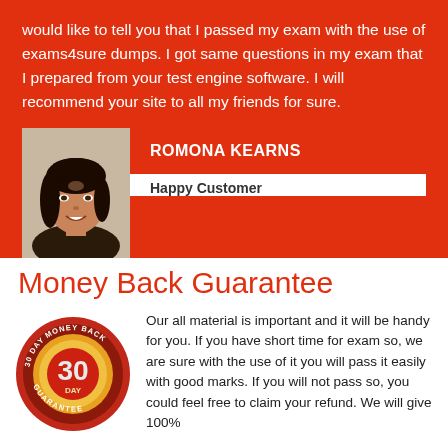would like to tell you that I passed my exam with the use of exams4sure dumps. I got same questions in my exam that I prepared from your test engine software. I will recommend your site to all my friends for sure.
[Figure (photo): Portrait photo of a young woman smiling, dark hair]
ROMONA KEARNS
Happy Customer
Money Back Guarantee
[Figure (illustration): 30 Day Money Back Guarantee circular badge/seal in red and gold]
Our all material is important and it will be handy for you. If you have short time for exam so, we are sure with the use of it you will pass it easily with good marks. If you will not pass so, you could feel free to claim your refund. We will give 100%